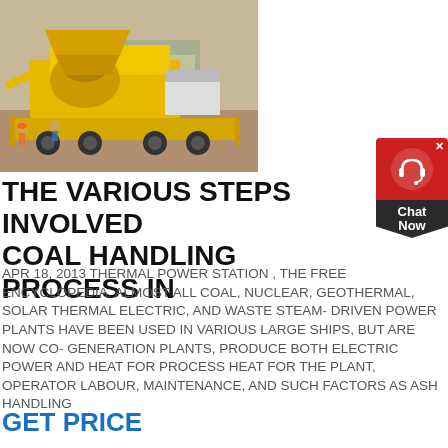[Figure (photo): Yellow heavy machinery / mobile crushing plant on a construction/mining site, mounted on a truck chassis. Sandy ground and workers visible in background.]
THE VARIOUS STEPS INVOLVED COAL HANDLING PROCESS IN
APR 18, 2013 THERMAL POWER STATION , THE FREE ENCYCLOPEDIA. ALMOST ALL COAL, NUCLEAR, GEOTHERMAL, SOLAR THERMAL ELECTRIC, AND WASTE STEAM- DRIVEN POWER PLANTS HAVE BEEN USED IN VARIOUS LARGE SHIPS, BUT ARE NOW CO- GENERATION PLANTS, PRODUCE BOTH ELECTRIC POWER AND HEAT FOR PROCESS HEAT FOR THE PLANT, OPERATOR LABOUR, MAINTENANCE, AND SUCH FACTORS AS ASH HANDLING
GET PRICE